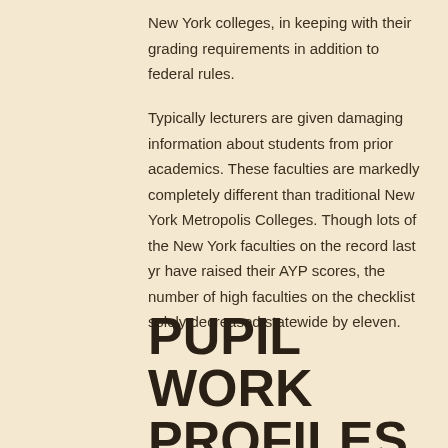New York colleges, in keeping with their grading requirements in addition to federal rules.
Typically lecturers are given damaging information about students from prior academics. These faculties are markedly completely different than traditional New York Metropolis Colleges. Though lots of the New York faculties on the record last yr have raised their AYP scores, the number of high faculties on the checklist solely decreased statewide by eleven.
PUPIL WORK PROFILES